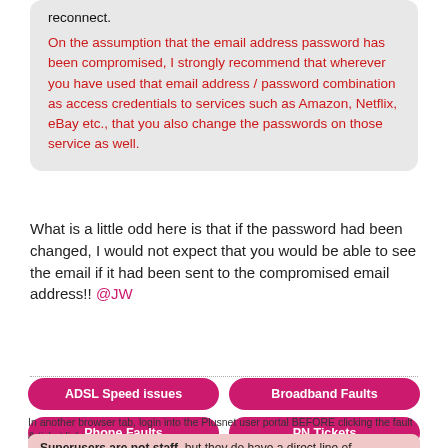reconnect.
On the assumption that the email address password has been compromised, I strongly recommend that wherever you have used that email address / password combination as access credentials to services such as Amazon, Netflix, eBay etc., that you also change the passwords on those service as well.
What is a little odd here is that if the password had been changed, I would not expect that you would be able to see the email if it had been sent to the compromised email address!! @JW
ADSL Speed issues
Broadband Faults
Phone Faults
PN Tickets
Get RouterStats
Configure RS
In another browser tab, login into the Plusnet user portal BEFORE clicking the fault & ticket links
Superusers are not staff, but they do have a direct line of